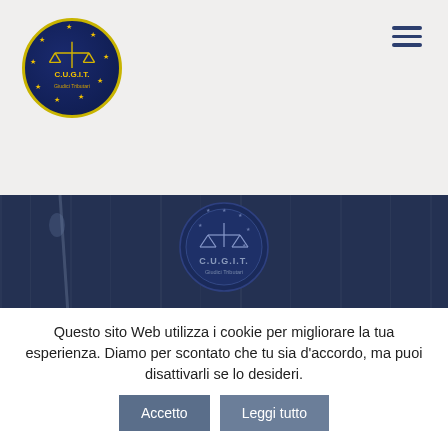[Figure (logo): C.U.G.I.T. Giudici Tributari circular logo with balance scale, gold text on dark blue background with stars]
[Figure (photo): Dark blue toned photograph of a courtroom or conference room with C.U.G.I.T. signage showing a circular logo with balance scale]
n° 3/2010 – maggio/giugno
Questo sito Web utilizza i cookie per migliorare la tua esperienza. Diamo per scontato che tu sia d'accordo, ma puoi disattivarli se lo desideri.
Accetto | Leggi tutto